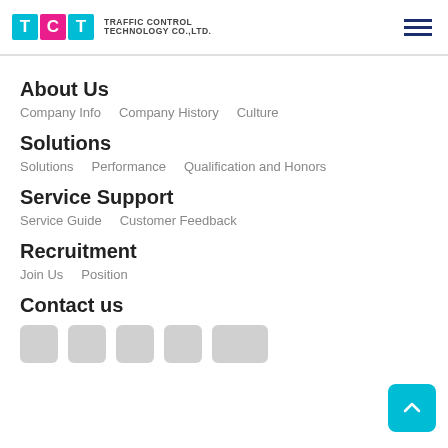TCT Traffic Control Technology Co., Ltd.
About Us
Company Info    Company History    Culture
Solutions
Solutions    Performance    Qualification and Honors
Service Support
Service Guide    Customer Feedback
Recruitment
Join Us    Position
Contact us
[Figure (other): Row of social media icon placeholders (grey rounded squares)]